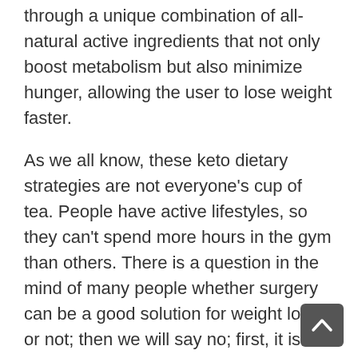through a unique combination of all-natural active ingredients that not only boost metabolism but also minimize hunger, allowing the user to lose weight faster.
As we all know, these keto dietary strategies are not everyone's cup of tea. People have active lifestyles, so they can't spend more hours in the gym than others. There is a question in the mind of many people whether surgery can be a good solution for weight loss or not; then we will say no; first, it is costly and also a little risky. DietToxil is a slimming capsule that will help you burn your calories in healthy and efficient ways. DietToxil is based on plants with high-quality ingredients that support the whole body in specific good ways. Not only this, but with the help of DiaetToxil, you can find great deals that will not load on your wallet and provide you with a budget-friendly weight loss view.